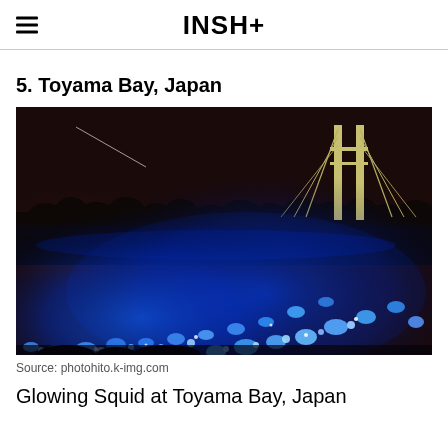INSH+
5. Toyama Bay, Japan
[Figure (photo): Night photograph of glowing blue bioluminescent firefly squid washed ashore on the beach at Toyama Bay, Japan. A suspension bridge tower is visible in the background against a dark sky. The shoreline is covered with intensely glowing blue squid, creating a striking luminescent trail along the water's edge.]
Source: photohito.k-img.com
Glowing Squid at Toyama Bay, Japan